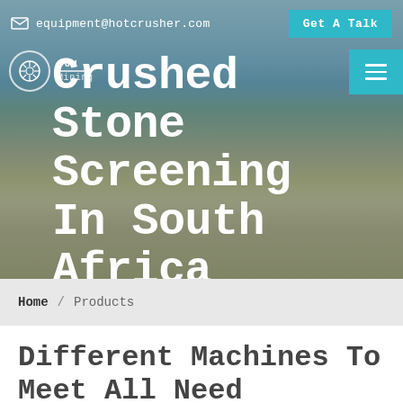equipment@hotcrusher.com  Get A Talk
[Figure (photo): Industrial crushed stone screening facility in South Africa, with conveyor belts and processing equipment against a blue sky background]
Crushed Stone Screening In South Africa
Home / Products
Different Machines To Meet All Need